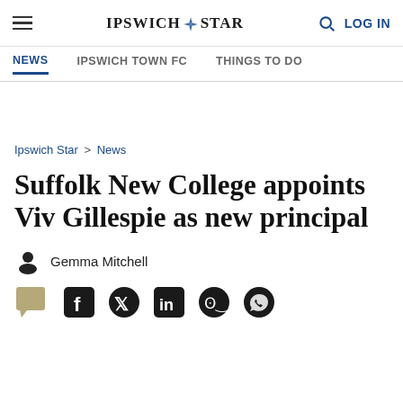IPSWICH STAR — NEWS | IPSWICH TOWN FC | THINGS TO DO
Ipswich Star > News
Suffolk New College appoints Viv Gillespie as new principal
Gemma Mitchell
[Figure (other): Social sharing icons row: comment, Facebook, Twitter, LinkedIn, Reddit, WhatsApp]